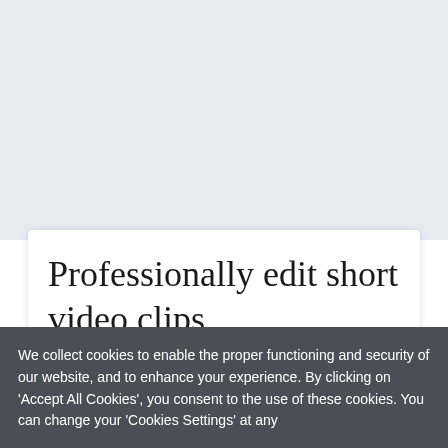Professionally edit short video clips
$15
1
BUY NOW
We collect cookies to enable the proper functioning and security of our website, and to enhance your experience. By clicking on 'Accept All Cookies', you consent to the use of these cookies. You can change your 'Cookies Settings' at any